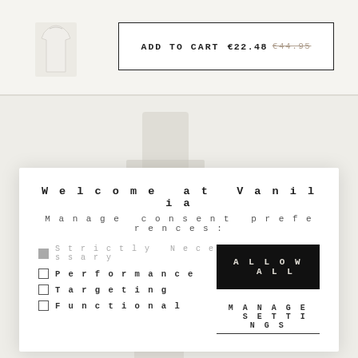[Figure (photo): Small white sleeveless top product thumbnail image on light beige background]
ADD TO CART  €22.48 €44.95
[Figure (screenshot): Blurred e-commerce page background with product image]
Welcome at Vanilia
Manage consent preferences:
Strictly Necessary
Performance
Targeting
Functional
ALLOW ALL
MANAGE SETTINGS